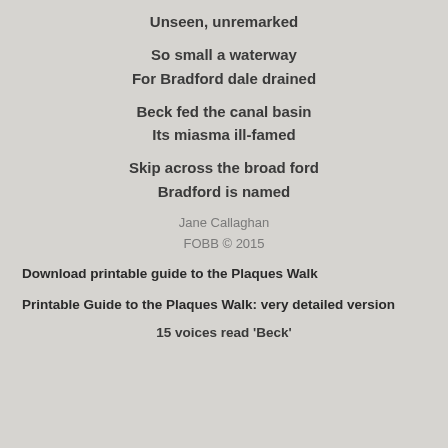Unseen, unremarked

So small a waterway
For Bradford dale drained

Beck fed the canal basin
Its miasma ill-famed

Skip across the broad ford
Bradford is named
Jane Callaghan
FOBB © 2015
Download printable guide to the Plaques Walk
Printable Guide to the Plaques Walk: very detailed version
15 voices read 'Beck'